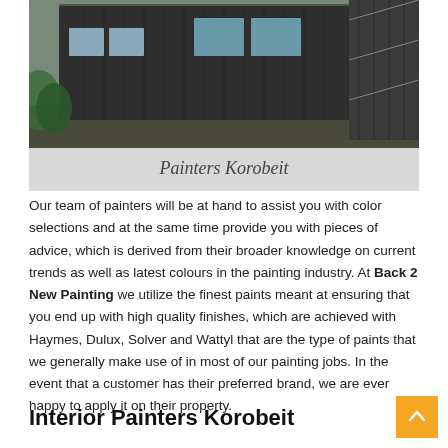[Figure (photo): Exterior photo of a dark-painted corrugated metal building with windows, surrounded by vegetation and scaffolding visible on the right side.]
Painters Korobeit
Our team of painters will be at hand to assist you with color selections and at the same time provide you with pieces of advice, which is derived from their broader knowledge on current trends as well as latest colours in the painting industry. At Back 2 New Painting we utilize the finest paints meant at ensuring that you end up with high quality finishes, which are achieved with Haymes, Dulux, Solver and Wattyl that are the type of paints that we generally make use of in most of our painting jobs. In the event that a customer has their preferred brand, we are ever happy to apply it on their property.
Interior Painters Korobeit